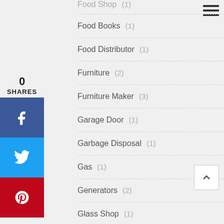Food Books (1)
Food Distributor (1)
Furniture (2)
Furniture Maker (3)
Garage Door (1)
Garbage Disposal (1)
Gas (1)
Generators (2)
Glass Shop (1)